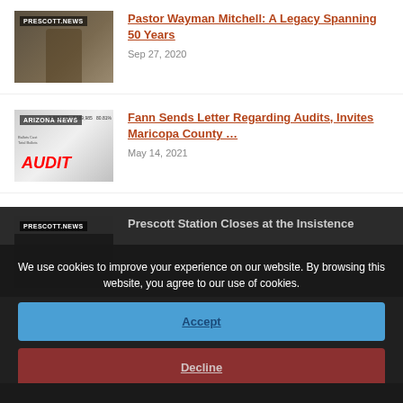[Figure (photo): Thumbnail photo of a person at a podium, labeled PRESCOTT.NEWS]
Pastor Wayman Mitchell: A Legacy Spanning 50 Years
Sep 27, 2020
[Figure (photo): Thumbnail showing audit document with numbers, labeled ARIZONA NEWS, with red AUDIT text]
Fann Sends Letter Regarding Audits, Invites Maricopa County …
May 14, 2021
[Figure (photo): Dark thumbnail with PRESCOTT.NEWS label]
Prescott Station Closes at the Insistence
We use cookies to improve your experience on our website. By browsing this website, you agree to our use of cookies.
Accept
Decline
More Info